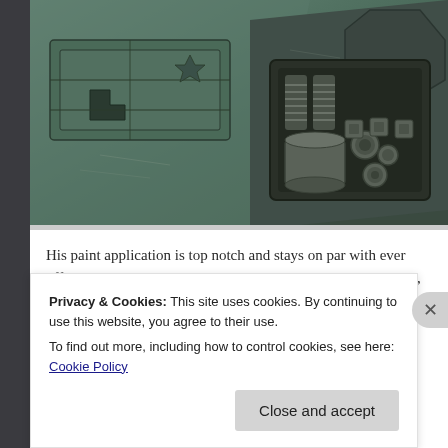[Figure (photo): Close-up photo of a detailed sci-fi model/miniature painted in unsaturated green/teal colors with mechanical details, bolts, panels, and weathering effects]
His paint application is top notch and stays on par with ever offered. Also, since some have asked and just in ca the photos, REX is mostly an unsaturated green in colo
Privacy & Cookies: This site uses cookies. By continuing to use this website, you agree to their use.
To find out more, including how to control cookies, see here: Cookie Policy